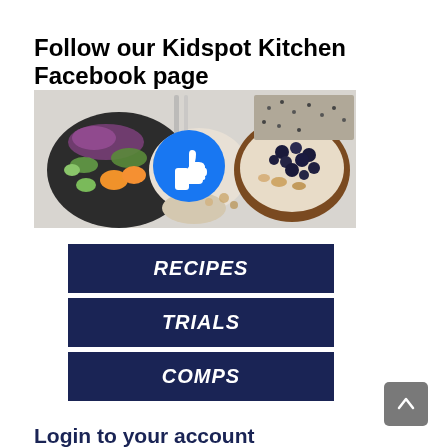Follow our Kidspot Kitchen Facebook page
[Figure (photo): Food photo showing a bowl with vegetables and orange slices on the left, scattered nuts and greens in the center, and a bowl with blueberries and granola on the right, with a Facebook like/thumbs-up icon overlaid in the center]
[Figure (infographic): Three dark navy blue rectangular buttons stacked vertically with white italic bold text reading RECIPES, TRIALS, and COMPS]
Login to your account